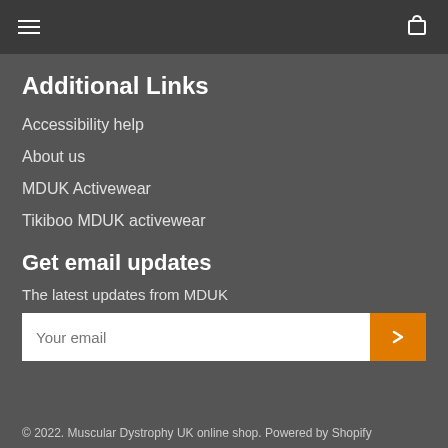Navigation bar with hamburger menu and cart icon
Additional Links
Accessibility help
About us
MDUK Activewear
Tikiboo MDUK activewear
Get email updates
The latest updates from MDUK
Your email [input field with submit button]
© 2022. Muscular Dystrophy UK online shop. Powered by Shopify